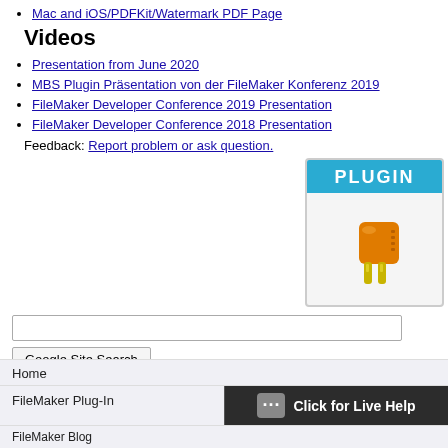Mac and iOS/PDFKit/Watermark PDF Page
Videos
Presentation from June 2020
MBS Plugin Präsentation von der FileMaker Konferenz 2019
FileMaker Developer Conference 2019 Presentation
FileMaker Developer Conference 2018 Presentation
Feedback: Report problem or ask question.
[Figure (logo): MBS Plugin logo: blue banner with white PLUGIN text, orange electrical plug icon below on light gray background]
Google Site Search (search input box and button)
Home
FileMaker Plug-In
FileMaker Blog
Click for Live Help